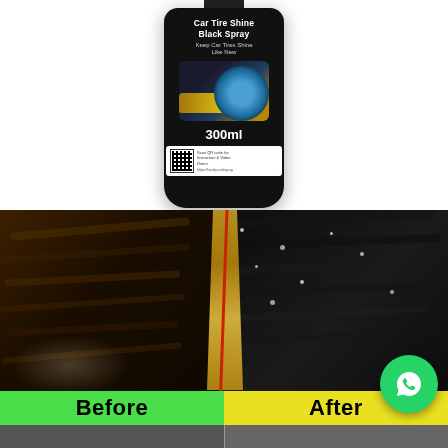[Figure (photo): Car Tire Shine Black Spray product bottle (300ml), black cylindrical spray bottle with label showing car tire image and QR code. Text on label: 'Car Tire Shine Black Spray', 'Keep Car Tires Shine Like New', '300ml', 'Scan QR code for Instruction & Video Demo']
[Figure (photo): Before and after comparison photo of a car tire. Left half shows a dirty/brown tire with liquid being poured on it, right half shows a clean shiny black tire with water droplets. Green 'Before' label and yellow 'After' label at bottom. WhatsApp icon in bottom right corner.]
[Figure (photo): Partial bottom strip showing additional product images (partially visible)]